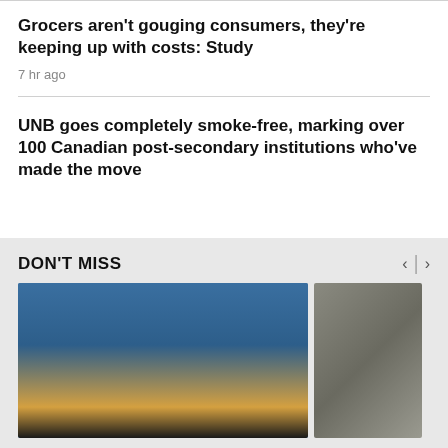Grocers aren't gouging consumers, they're keeping up with costs: Study
7 hr ago
UNB goes completely smoke-free, marking over 100 Canadian post-secondary institutions who've made the move
DON'T MISS
[Figure (photo): Women playing handball or dodgeball in a gymnasium, wearing red and blue jerseys, with a blue wall in the background and yellow barriers]
[Figure (photo): A grayscale/monochrome close-up image, partially visible]